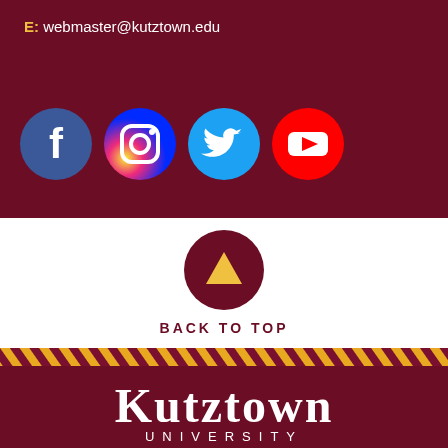E: webmaster@kutztown.edu
[Figure (illustration): Social media icons: Facebook (blue circle), Instagram (gradient circle), Twitter (light blue circle), YouTube (red circle)]
[Figure (illustration): Back to top button: dark maroon circle with gold upward-pointing triangle arrow]
BACK TO TOP
[Figure (illustration): Diagonal gold and maroon striped band]
[Figure (logo): Kutztown University logo in white text on maroon background]